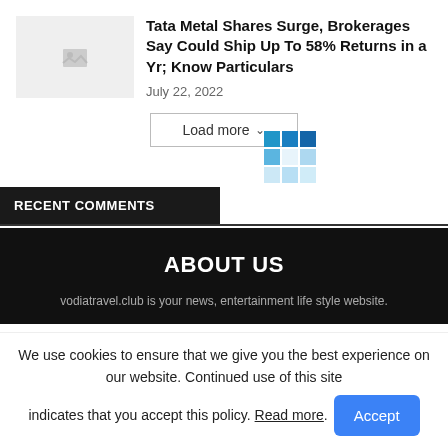[Figure (photo): Thumbnail image placeholder for article about Tata Metal shares]
Tata Metal Shares Surge, Brokerages Say Could Ship Up To 58% Returns in a Yr; Know Particulars
July 22, 2022
[Figure (other): Load more button with loading spinner grid overlay]
RECENT COMMENTS
ABOUT US
vodiatravel.club is your news, entertainment life style website.
We use cookies to ensure that we give you the best experience on our website. Continued use of this site indicates that you accept this policy. Read more.